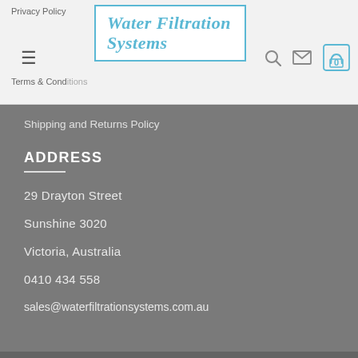Privacy Policy | Terms & Conditions | Water Filtration Systems
[Figure (logo): Water Filtration Systems logo in blue italic text with border]
Shipping and Returns Policy
ADDRESS
29 Drayton Street
Sunshine 3020
Victoria, Australia
0410 434 558
sales@waterfiltrationsystems.com.au